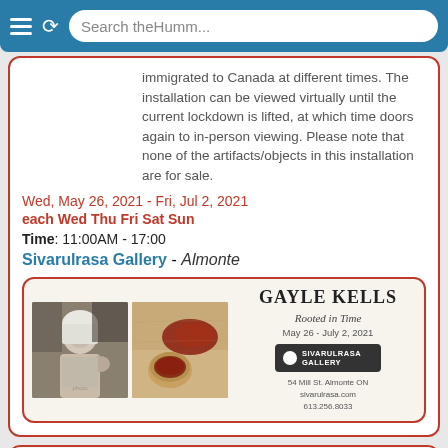[Figure (screenshot): Browser navigation bar with hamburger menu, refresh button, and search box reading 'Search theHumm...']
immigrated to Canada at different times. The installation can be viewed virtually until the current lockdown is lifted, at which time doors again to in-person viewing. Please note that none of the artifacts/objects in this installation are for sale.
Wed, May 26, 2021 - Fri, Jul 2, 2021
each Wed Thu Fri Sat Sun
Time: 11:00AM - 17:00
Sivarulrasa Gallery - Almonte
[Figure (photo): Two images side by side: left is a black and white photo of an elderly woman, right is a color photo of spices in a bowl from above. To the right is a promotional card for GAYLE KELLS 'Rooted in Time', May 26 - July 2, 2021, Sivarulrasa Gallery, 54 Mill St. Almonte ON, sivarulrasa.com, 613.256.8033]
2 Jun 2021
Wednesday:
Artist Talk/Vernissage: Gayle Kells